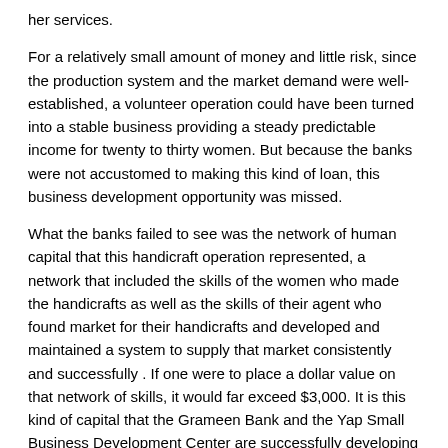her services.
For a relatively small amount of money and little risk, since the production system and the market demand were well-established, a volunteer operation could have been turned into a stable business providing a steady predictable income for twenty to thirty women. But because the banks were not accustomed to making this kind of loan, this business development opportunity was missed.
What the banks failed to see was the network of human capital that this handicraft operation represented, a network that included the skills of the women who made the handicrafts as well as the skills of their agent who found market for their handicrafts and developed and maintained a system to supply that market consistently and successfully . If one were to place a dollar value on that network of skills, it would far exceed $3,000. It is this kind of capital that the Grameen Bank and the Yap Small Business Development Center are successfully developing ways to invest in and capitalize on.
Conclusion